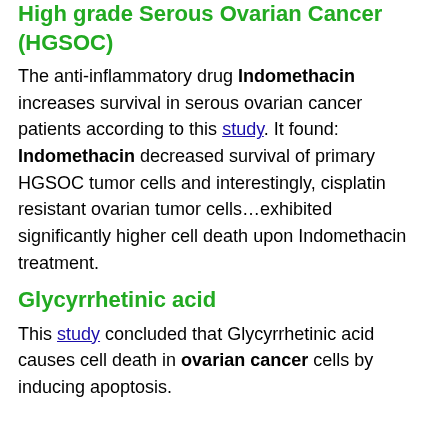High grade Serous Ovarian Cancer (HGSOC)
The anti-inflammatory drug Indomethacin increases survival in serous ovarian cancer patients according to this study. It found: Indomethacin decreased survival of primary HGSOC tumor cells and interestingly, cisplatin resistant ovarian tumor cells...exhibited significantly higher cell death upon Indomethacin treatment.
Glycyrrhetinic acid
This study concluded that Glycyrrhetinic acid causes cell death in ovarian cancer cells by inducing apoptosis.